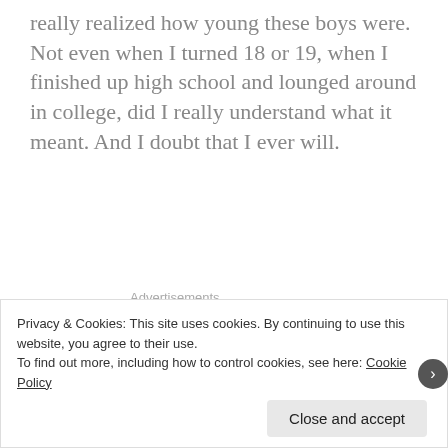really realized how young these boys were. Not even when I turned 18 or 19, when I finished up high school and lounged around in college, did I really understand what it meant. And I doubt that I ever will.
Advertisements
3.
I don't remember the first time I heard “Taro.” I wish I'd catalogued that memory away, next to all my other
Privacy & Cookies: This site uses cookies. By continuing to use this website, you agree to their use. To find out more, including how to control cookies, see here: Cookie Policy
Close and accept